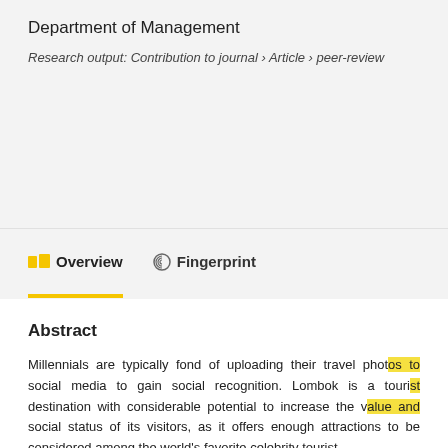Department of Management
Research output: Contribution to journal › Article › peer-review
Overview   Fingerprint
Abstract
Millennials are typically fond of uploading their travel photos to social media to gain social recognition. Lombok is a tourist destination with considerable potential to increase the value and social status of its visitors, as it offers enough attractions to be considered among the world's favorite celebrity tourist...